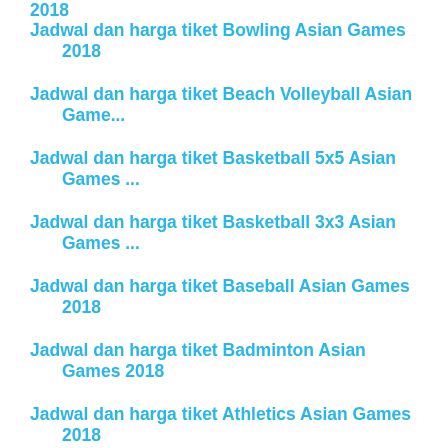2018
Jadwal dan harga tiket Bowling Asian Games 2018
Jadwal dan harga tiket Beach Volleyball Asian Game...
Jadwal dan harga tiket Basketball 5x5 Asian Games ...
Jadwal dan harga tiket Basketball 3x3 Asian Games ...
Jadwal dan harga tiket Baseball Asian Games 2018
Jadwal dan harga tiket Badminton Asian Games 2018
Jadwal dan harga tiket Athletics Asian Games 2018
Jadwal dan harga tiket Archery Asian Games 2018
Jadwal dan harga tiket Diving Asian Games 2018
Jadwal dan harga tiket Water Polo Asian Games 2018